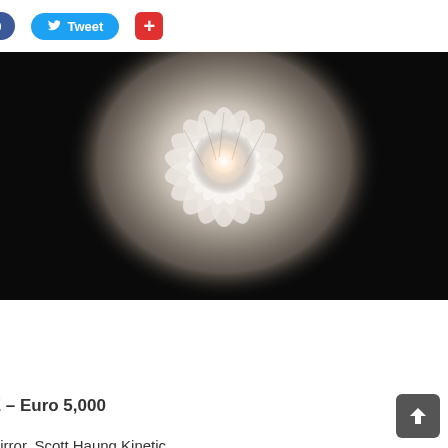[Figure (screenshot): Social sharing bar with Facebook Like (0), Twitter Tweet, and Google+ buttons]
[Figure (photo): A glowing white flower-like chandelier or lamp installation against a dark background, resembling a dandelion or chrysanthemum shape made of translucent petals with a bright central light]
2nd PRIZE – Euro 5,000
Dandelion Mirror, Scott Haung Kinetic (Taiwan)